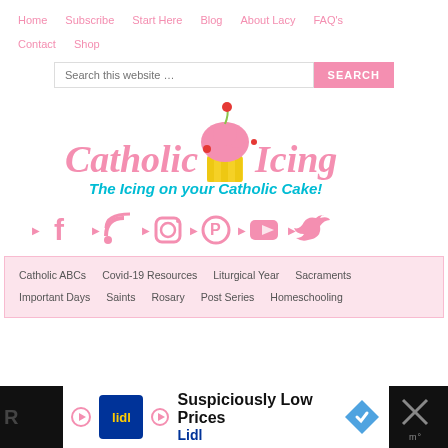Home | Subscribe | Start Here | Blog | About Lacy | FAQ's | Contact | Shop
Search this website …
[Figure (logo): Catholic Icing logo with cupcake graphic and tagline 'The Icing on your Catholic Cake!']
[Figure (infographic): Social media icons: Facebook, RSS, Instagram, Pinterest, YouTube, Twitter — all in pink]
Catholic ABCs | Covid-19 Resources | Liturgical Year | Sacraments | Important Days | Saints | Rosary | Post Series | Homeschooling
[Figure (screenshot): Advertisement banner: Lidl 'Suspiciously Low Prices' ad with blue Lidl logo and navigation sign icon]